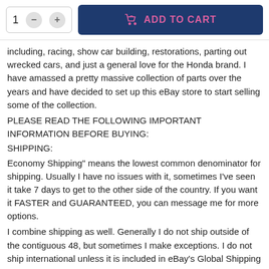[Figure (screenshot): Add to cart UI with quantity selector (showing '1', minus and plus buttons) and a dark blue 'ADD TO CART' button with shopping bag icon]
including, racing, show car building, restorations, parting out wrecked cars, and just a general love for the Honda brand. I have amassed a pretty massive collection of parts over the years and have decided to set up this eBay store to start selling some of the collection.
PLEASE READ THE FOLLOWING IMPORTANT INFORMATION BEFORE BUYING:
SHIPPING:
Economy Shipping" means the lowest common denominator for shipping. Usually I have no issues with it, sometimes I've seen it take 7 days to get to the other side of the country. If you want it FASTER and GUARANTEED, you can message me for more options.
I combine shipping as well. Generally I do not ship outside of the contiguous 48, but sometimes I make exceptions. I do not ship international unless it is included in eBay's Global Shipping Program.